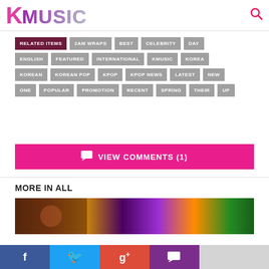KMUSIC
RELATED ITEMS
2AM WRAPS
BEST
CELEBRITY
DAY
ENGLISH
FEATURED
INTERNATIONAL
KMUSIC
KOREA
KOREAN
KOREAN POP
KPOP
KPOP NEWS
LATEST
NEW
ONE
POPULAR
PROMOTION
RECENT
SPRING
THEIR
UP
VIEW COMMENTS (1)
MORE IN ALL
[Figure (photo): Article thumbnail image with colorful gradient background]
Social sharing bar: Facebook, Twitter, Google+, Comments